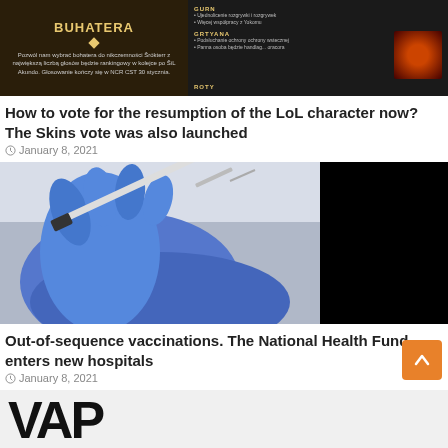[Figure (screenshot): League of Legends hero vote screenshot showing dark themed game UI with Polish text, hero selection interface with BUHATERA title and character images]
How to vote for the resumption of the LoL character now? The Skins vote was also launched
January 8, 2021
[Figure (photo): Close-up photo of gloved hands in blue latex gloves holding a medical syringe with needle, vaccine preparation concept, partially black right side]
Out-of-sequence vaccinations. The National Health Fund enters new hospitals
January 8, 2021
[Figure (photo): Partial view of large bold text VAP on light background, bottom of page cropped]